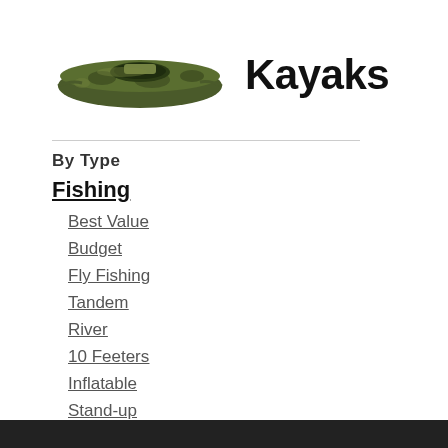[Figure (photo): Photo of a green camouflage fishing kayak viewed from the side]
Kayaks
By Type
Fishing
Best Value
Budget
Fly Fishing
Tandem
River
10 Feeters
Inflatable
Stand-up
Under $500
Ocean